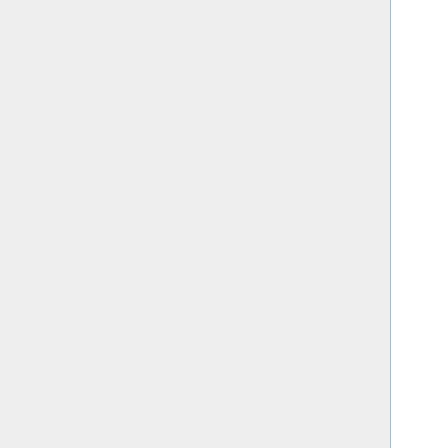1.1 PBX ver 6.0.5 or later method
1.2 PBX ver 5.2 method
1.3 Quick Setup Guide
2 Additional programming tips:
3 Updating the Directory Button
4 Keys
5 Multicast
6 Tones
7 Enable and Configure User Access Levels
8 Remote Phonebook files
9 Enhanced DSS Keys
10 Hot Desking
11 Fixes
12 Yealink Documentation
13 Yealink Power Usage
14 Yealink Tips, Tricks and Useful Info
14.1 Webgui login credentials
14.2 Transfer/Park tips
14.3 Transferring a call to an